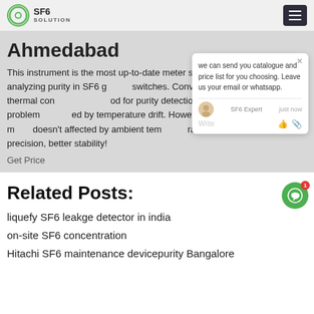SF6 SOLUTION
Ahmedabad
This instrument is the most up-to-date meter special for analyzing purity in SF6 g... F6 switches. Conventional thermal con... nod for purity detection has big problem... ed by temperature drift. However, our m... doesn't affected by ambient tem... ra... precision, better stability!
Get Price
[Figure (screenshot): Chat popup with message: we can send you catalogue and price list for you choosing. Leave us your email or whatsapp. SF6 Expert just now. Write area with like and attachment icons.]
Related Posts:
liquefy SF6 leakge detector in india
on-site SF6 concentration
Hitachi SF6 maintenance devicepurity Bangalore